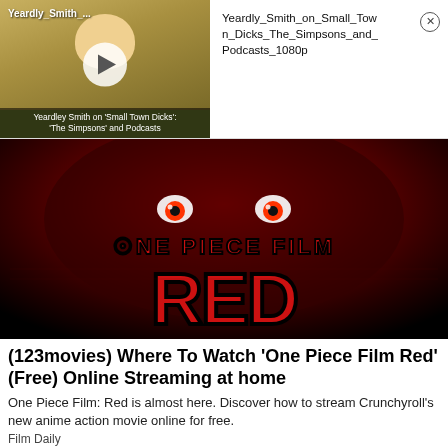[Figure (screenshot): Video thumbnail showing Yeardley Smith interview with play button overlay. Label reads 'Yeardley_Smith_...' at top left. Bottom caption reads 'Yeardley Smith on Small Town Dicks: The Simpsons' and Podcasts']
Yeardly_Smith_on_Small_Town_Dicks_The_Simpsons_and_Podcasts_1080p
[Figure (screenshot): Movie poster/banner for 'One Piece Film Red' showing dark red anime artwork with a menacing character and bold red stylized text logo]
(123movies) Where To Watch 'One Piece Film Red' (Free) Online Streaming at home
One Piece Film: Red is almost here. Discover how to stream Crunchyroll's new anime action movie online for free.
Film Daily